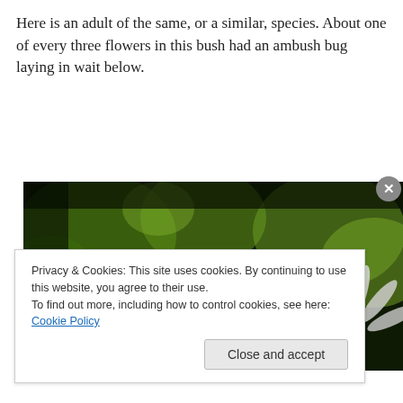Here is an adult of the same, or a similar, species. About one of every three flowers in this bush had an ambush bug laying in wait below.
[Figure (photo): Close-up macro photograph of white daisy flowers against a dark green bokeh background, with what appears to be an ambush bug on or near the flower.]
Privacy & Cookies: This site uses cookies. By continuing to use this website, you agree to their use.
To find out more, including how to control cookies, see here: Cookie Policy